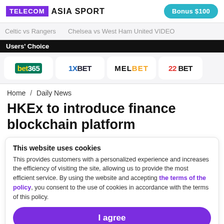TELECOM ASIA SPORT | Bonus $100
Celtic vs Rangers   Chelsea vs West Ham United VIDEO
Users' Choice
[Figure (logo): Bookmaker logos row: bet365, 1XBET, MELBET, 22BET]
Home / Daily News
HKEx to introduce finance blockchain platform
This website uses cookies
This provides customers with a personalized experience and increases the efficiency of visiting the site, allowing us to provide the most efficient service. By using the website and accepting the terms of the policy, you consent to the use of cookies in accordance with the terms of this policy.
I agree